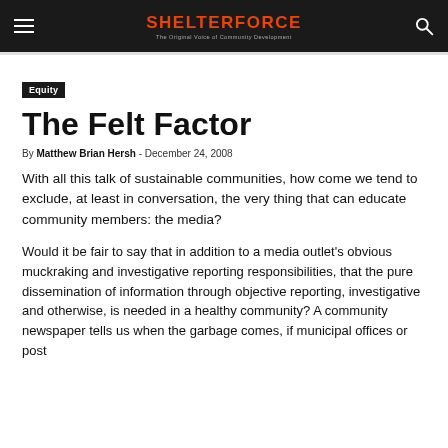SHELTERFORCE — The Original Voice of Community Development
Equity
The Felt Factor
By Matthew Brian Hersh - December 24, 2008
With all this talk of sustainable communities, how come we tend to exclude, at least in conversation, the very thing that can educate community members: the media?
Would it be fair to say that in addition to a media outlet's obvious muckraking and investigative reporting responsibilities, that the pure dissemination of information through objective reporting, investigative and otherwise, is needed in a healthy community? A community newspaper tells us when the garbage comes, if municipal offices or post